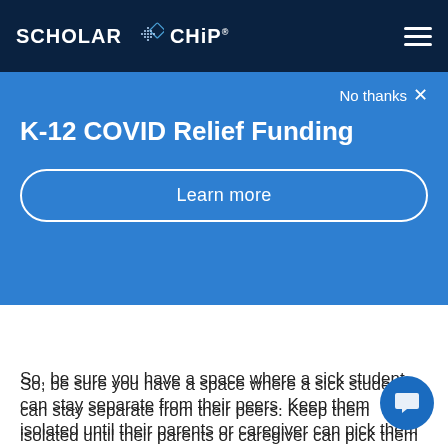SCHOLAR CHIP
[Figure (screenshot): Blue promotional banner overlay with 'No thanks X' dismiss button, 'K-12 COVID Relief Funding' heading, and 'Learn more' pill button on a blue background]
...and on illness symptoms accordingly.
So, be sure you have a space where a sick student can stay separate from their peers. Keep them isolated until their parents or caregiver can pick them up.
This is another scenario in which ScholarChip tools can be useful. You only want a child's caregiver to be able to pick up the child and that no other visitors can access this quarantine